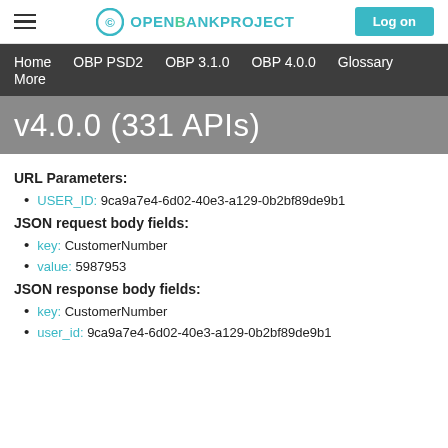OPENBANKPROJECT | Log on
Home  OBP PSD2  OBP 3.1.0  OBP 4.0.0  Glossary  More
v4.0.0 (331 APIs)
URL Parameters:
USER_ID: 9ca9a7e4-6d02-40e3-a129-0b2bf89de9b1
JSON request body fields:
key: CustomerNumber
value: 5987953
JSON response body fields:
key: CustomerNumber
user_id: 9ca9a7e4-6d02-40e3-a129-0b2bf89de9b1